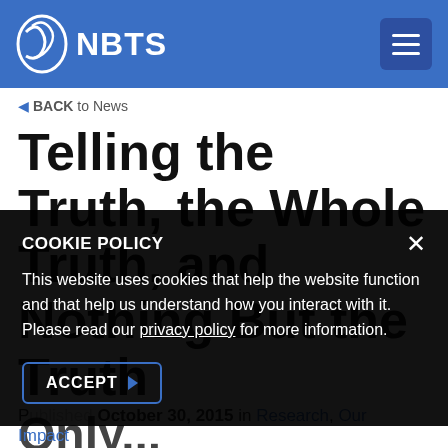NBTS
BACK to News
Telling the Truth, the Whole Truth, and Nothing But the Truth Only...
COOKIE POLICY
This website uses cookies that help the website function and that help us understand how you interact with it. Please read our privacy policy for more information.
ACCEPT
Published October 30, 2015 in Research, Our Impact